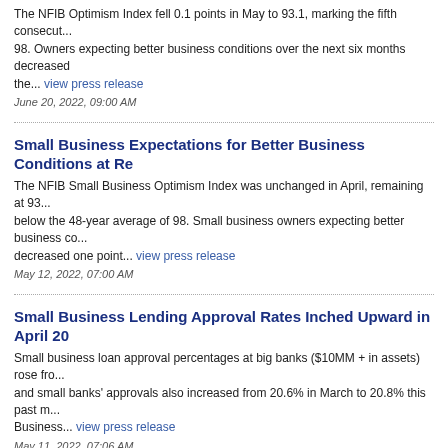The NFIB Optimism Index fell 0.1 points in May to 93.1, marking the fifth consecut... 98. Owners expecting better business conditions over the next six months decreased the... view press release
June 20, 2022, 09:00 AM
Small Business Expectations for Better Business Conditions at Re
The NFIB Small Business Optimism Index was unchanged in April, remaining at 93... below the 48-year average of 98. Small business owners expecting better business co... decreased one point... view press release
May 12, 2022, 07:00 AM
Small Business Lending Approval Rates Inched Upward in April 20
Small business loan approval percentages at big banks ($10MM + in assets) rose fro... and small banks' approvals also increased from 20.6% in March to 20.8% this past m... Business... view press release
May 11, 2022, 07:06 AM
National Bank of Coxsackie Launches Small Business Lending Pla
The National Bank of Coxsackie launched its new Small Business lending platform,... can apply for installment loans via this platform and the entire process, from applica... digital... view press release
May 09, 2022, 07:00 AM